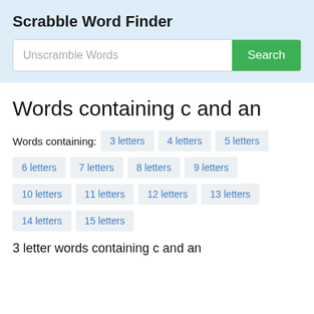Scrabble Word Finder
Unscramble Words
Words containing c and an
Words containing: 3 letters  4 letters  5 letters  6 letters  7 letters  8 letters  9 letters  10 letters  11 letters  12 letters  13 letters  14 letters  15 letters
3 letter words containing c and an